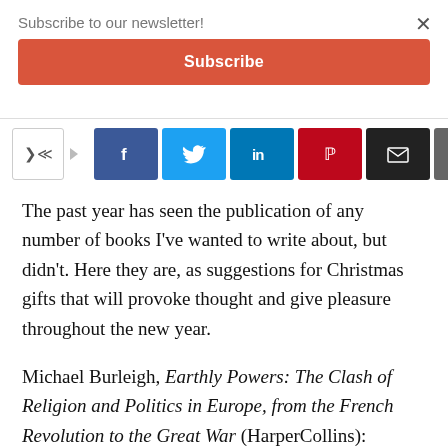Subscribe to our newsletter!
Subscribe
[Figure (screenshot): Social share buttons: share icon, Facebook, Twitter, LinkedIn, Pinterest, Email, Print]
The past year has seen the publication of any number of books I've wanted to write about, but didn't. Here they are, as suggestions for Christmas gifts that will provoke thought and give pleasure throughout the new year.
Michael Burleigh, Earthly Powers: The Clash of Religion and Politics in Europe, from the French Revolution to the Great War (HarperCollins): Beginning